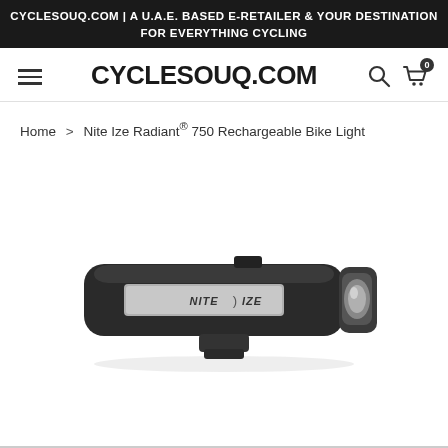CYCLESOUQ.COM | A U.A.E. BASED E-RETAILER & YOUR DESTINATION FOR EVERYTHING CYCLING
CYCLESOUQ.COM
Home > Nite Ize Radiant® 750 Rechargeable Bike Light
[Figure (photo): Nite Ize Radiant 750 Rechargeable Bike Light product photo. A sleek black elongated bike light with a silver Nite Ize logo panel and a bright LED lens on the right end, viewed from the side. A mounting bracket is visible underneath.]